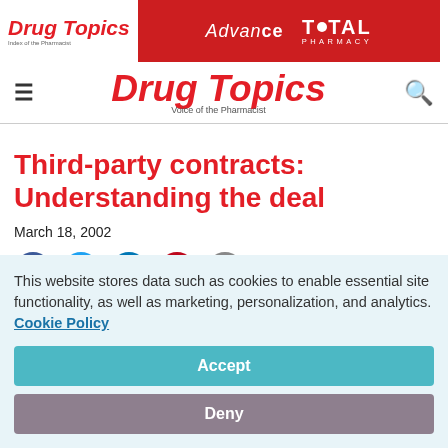Drug Topics | Advance | Total Pharmacy
Drug Topics — Voice of the Pharmacist
Third-party contracts: Understanding the deal
March 18, 2002
[Figure (infographic): Social media share buttons: Facebook, Twitter, LinkedIn, Pinterest, Email]
This website stores data such as cookies to enable essential site functionality, as well as marketing, personalization, and analytics. Cookie Policy
Accept
Deny